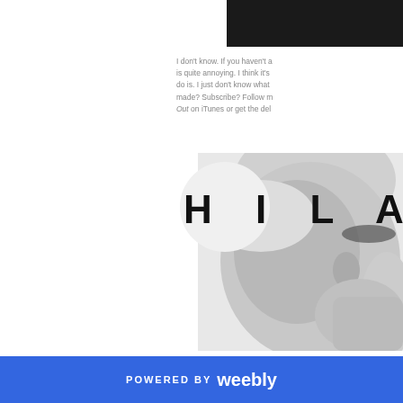[Figure (photo): Dark banner/bar at top right of page, black background]
I don't know. If you haven't a is quite annoying. I think it's do is. I just don't know what made? Subscribe? Follow m Out on iTunes or get the del
[Figure (photo): Black and white close-up photo of a woman's face with the text 'HILA' in large spaced letters overlaid]
POWERED BY weebly